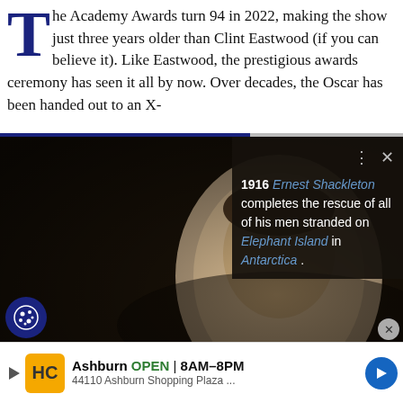The Academy Awards turn 94 in 2022, making the show just three years older than Clint Eastwood (if you can believe it). Like Eastwood, the prestigious awards ceremony has seen it all by now. Over decades, the Oscar has been handed out to an X-
[Figure (photo): Sepia-toned vintage portrait photograph of Ernest Shackleton, a man in early 20th century formal attire]
1916 Ernest Shackleton completes the rescue of all of his men stranded on Elephant Island in Antarctica.
[Figure (photo): Larger sepia-toned vintage portrait photograph of Ernest Shackleton]
Ashburn OPEN 8AM–8PM 44110 Ashburn Shopping Plaza ...